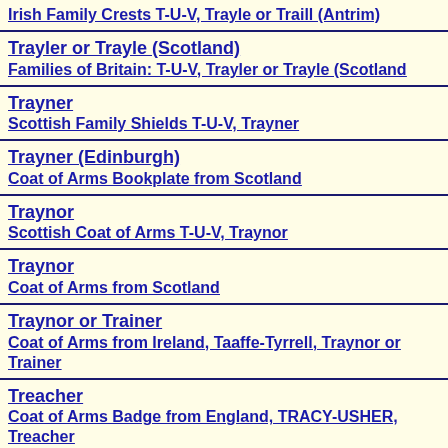Irish Family Crests T-U-V, Trayle or Traill (Antrim)
Trayler or Trayle (Scotland)
Families of Britain: T-U-V, Trayler or Trayle (Scotland)
Trayner
Scottish Family Shields T-U-V, Trayner
Trayner (Edinburgh)
Coat of Arms Bookplate from Scotland
Traynor
Scottish Coat of Arms T-U-V, Traynor
Traynor
Coat of Arms from Scotland
Traynor or Trainer
Coat of Arms from Ireland, Taaffe-Tyrrell, Traynor or Trainer
Treacher
Coat of Arms Badge from England, TRACY-USHER, Treacher
Treacy or Tracy